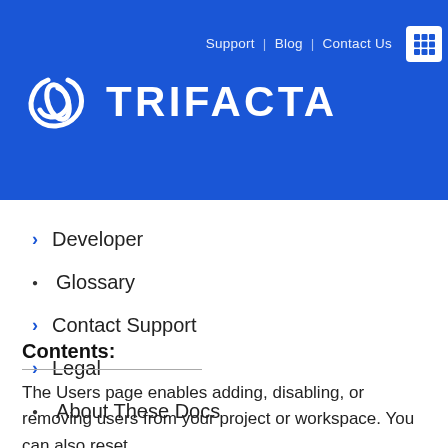TRIFACTA | Support | Blog | Contact Us
Developer
Glossary
Contact Support
Legal
About These Docs
Contents:
The Users page enables adding, disabling, or removing users from your project or workspace. You can also reset